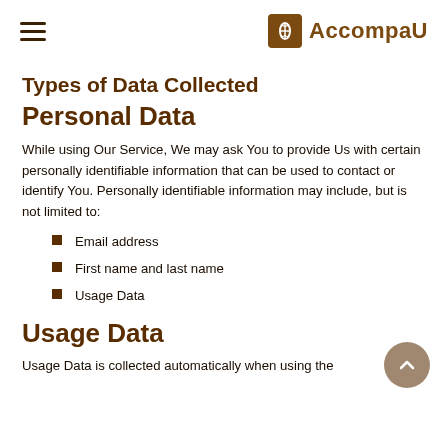AccompaU
Types of Data Collected
Personal Data
While using Our Service, We may ask You to provide Us with certain personally identifiable information that can be used to contact or identify You. Personally identifiable information may include, but is not limited to:
Email address
First name and last name
Usage Data
Usage Data
Usage Data is collected automatically when using the